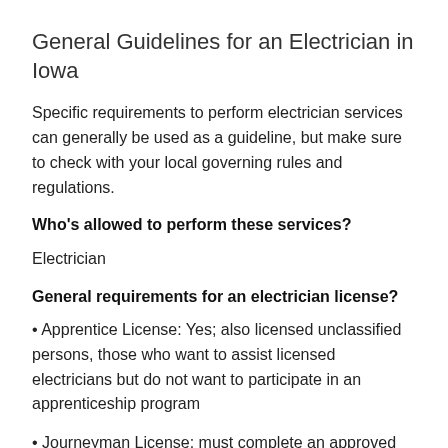General Guidelines for an Electrician in Iowa
Specific requirements to perform electrician services can generally be used as a guideline, but make sure to check with your local governing rules and regulations.
Who's allowed to perform these services?
Electrician
General requirements for an electrician license?
• Apprentice License: Yes; also licensed unclassified persons, those who want to assist licensed electricians but do not want to participate in an apprenticeship program
• Journeyman License: must complete an approved